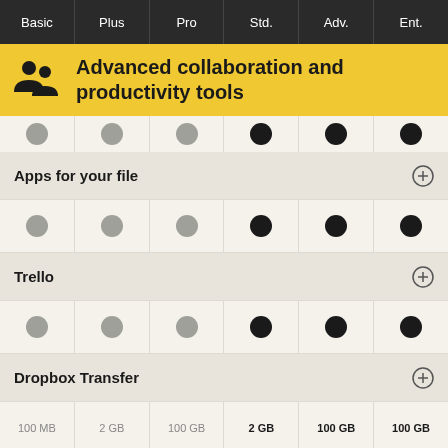| Basic | Plus | Pro | Std. | Adv. | Ent. |
| --- | --- | --- | --- | --- | --- |
Advanced collaboration and productivity tools
Apps for your file
[Figure (infographic): Dot row: gray, gray, gray, dark, dark, dark for Apps for your file]
Trello
[Figure (infographic): Dot row: gray, gray, gray, dark, dark, dark for Trello]
Dropbox Transfer
| Basic | Plus | Pro | Std. | Adv. | Ent. |
| --- | --- | --- | --- | --- | --- |
| 100 MB | 2 GB | 100 GB | 2 GB | 100 GB | 100 GB |
Cloud-based content and files
[Figure (infographic): Partial dot row at bottom]